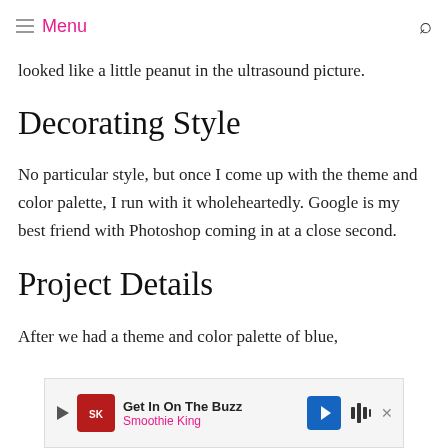Menu
looked like a little peanut in the ultrasound picture.
Decorating Style
No particular style, but once I come up with the theme and color palette, I run with it wholeheartedly. Google is my best friend with Photoshop coming in at a close second.
Project Details
After we had a theme and color palette of blue,
[Figure (other): Advertisement banner for Smoothie King: Get In On The Buzz]